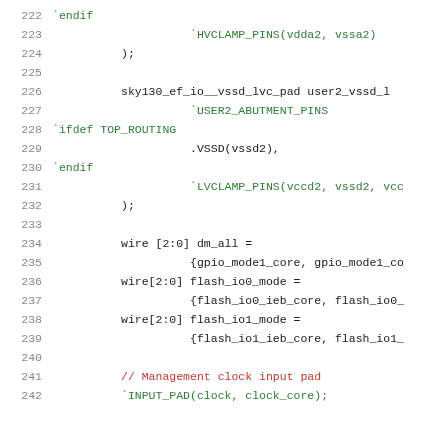Source code listing lines 222-242, Verilog/SystemVerilog hardware description language file with macro directives, wire declarations, and pad instantiations.